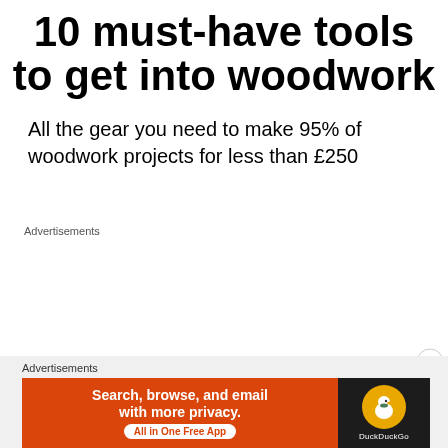10 must-have tools to get into woodwork
All the gear you need to make 95% of woodwork projects for less than £250
Advertisements
Advertisements
[Figure (other): DuckDuckGo advertisement banner: orange left panel with text 'Search, browse, and email with more privacy. All in One Free App' and dark right panel with DuckDuckGo logo]